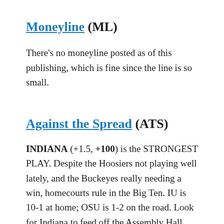Moneyline (ML)
There's no moneyline posted as of this publishing, which is fine since the line is so small.
Against the Spread (ATS)
INDIANA (+1.5, +100) is the STRONGEST PLAY. Despite the Hoosiers not playing well lately, and the Buckeyes really needing a win, homecourts rule in the Big Ten. IU is 10-1 at home; OSU is 1-2 on the road. Look for Indiana to feed off the Assembly Hall crowd, which rumor has it will include former coach Bob